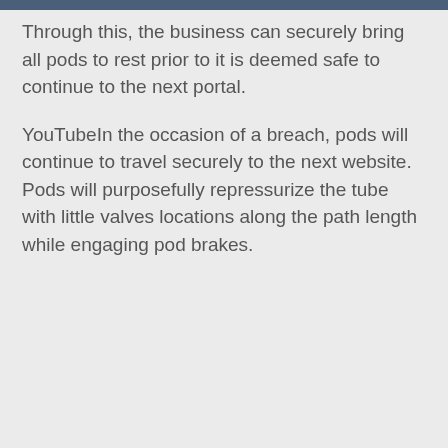Through this, the business can securely bring all pods to rest prior to it is deemed safe to continue to the next portal.
YouTubeIn the occasion of a breach, pods will continue to travel securely to the next website. Pods will purposefully repressurize the tube with little valves locations along the path length while engaging pod brakes.